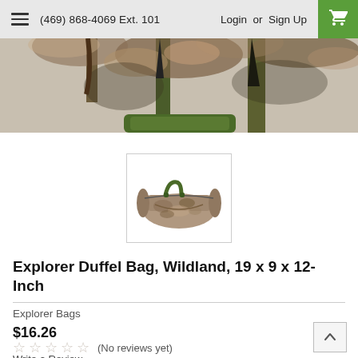(469) 868-4069 Ext. 101  Login or Sign Up
[Figure (photo): Close-up cropped photo of a camouflage duffel bag with woodland camo pattern showing trees and foliage, with a green strap visible]
[Figure (photo): Thumbnail image of Explorer Duffel Bag in Wildland camo pattern, small duffle bag with green handles shown against white background]
Explorer Duffel Bag, Wildland, 19 x 9 x 12-Inch
Explorer Bags
$16.26
(No reviews yet)
Write a Review